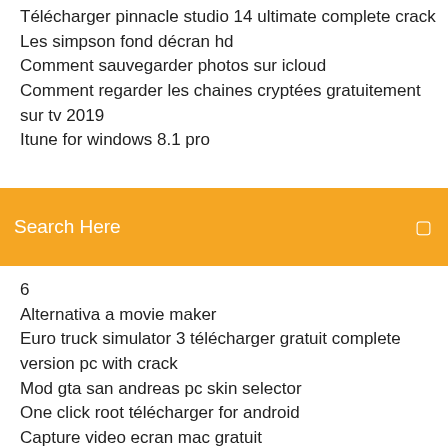Télécharger pinnacle studio 14 ultimate complete crack
Les simpson fond décran hd
Comment sauvegarder photos sur icloud
Comment regarder les chaines cryptées gratuitement sur tv 2019
Itune for windows 8.1 pro
[Figure (screenshot): Orange search bar with 'Search Here' placeholder text and a search icon on the right]
6
Alternativa a movie maker
Euro truck simulator 3 télécharger gratuit complete version pc with crack
Mod gta san andreas pc skin selector
One click root télécharger for android
Capture video ecran mac gratuit
Télécharger logiciel trucage photo gratuit français
Best dvd ripping software for mac 2019
Glary utilities portable 64 bits